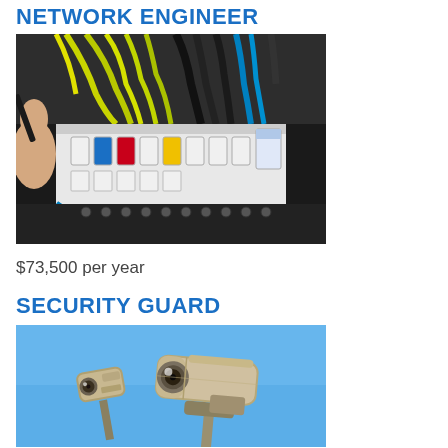NETWORK ENGINEER
[Figure (photo): Close-up photo of a hand using a tool on a network/electrical panel with colorful cabling (green/yellow, blue, black) and circuit breakers]
$73,500 per year
SECURITY GUARD
[Figure (photo): Two outdoor security surveillance cameras mounted on poles against a blue sky background]